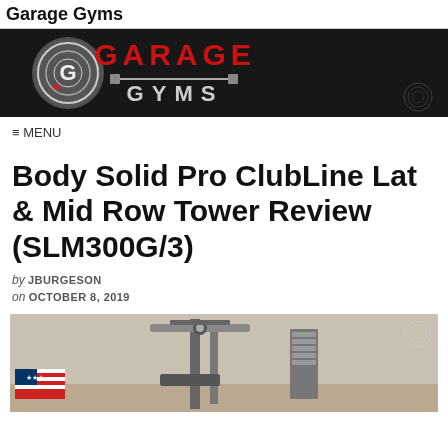Garage Gyms
[Figure (logo): Garage Gyms banner logo with circular G emblem on left and red GARAGE GYMS text with barbell graphic on dark background]
≡ MENU
Body Solid Pro ClubLine Lat & Mid Row Tower Review (SLM300G/3)
by JBURGESON
on OCTOBER 8, 2019
[Figure (photo): Photo of a Body Solid Pro ClubLine Lat & Mid Row Tower gym machine in a garage gym setting with US flag in background]